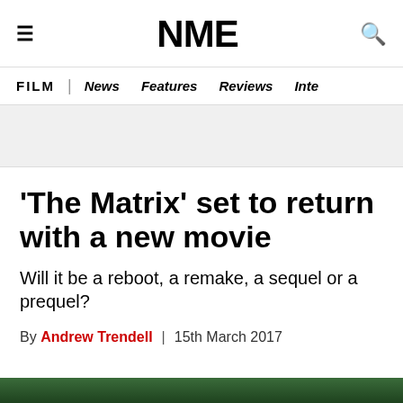≡  NME  🔍
FILM | News  Features  Reviews  Inte
'The Matrix' set to return with a new movie
Will it be a reboot, a remake, a sequel or a prequel?
By Andrew Trendell | 15th March 2017